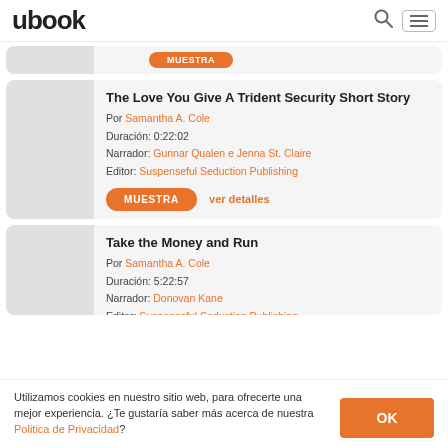ubook
[Figure (screenshot): Partial book card with orange button visible at top]
The Love You Give A Trident Security Short Story
Por Samantha A. Cole
Duración: 0:22:02
Narrador: Gunnar Qualen e Jenna St. Claire
Editor: Suspenseful Seduction Publishing
Take the Money and Run
Por Samantha A. Cole
Duración: 5:22:57
Narrador: Donovan Kane
Editor: Suspenseful Seduction Publishing
Utilizamos cookies en nuestro sitio web, para ofrecerte una mejor experiencia. ¿Te gustaría saber más acerca de nuestra Politica de Privacidad?